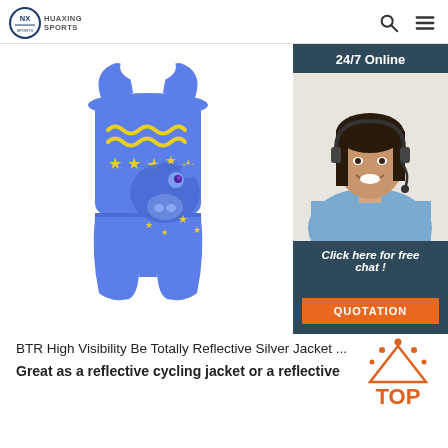HUAXING SPORTS
[Figure (photo): Blue children's swimsuit/gymnastics onesie with yellow wavy lines and star pattern, plus a cartoon hippo character on the front]
[Figure (photo): Sidebar: '24/7 Online' label, female customer service agent with headset smiling, 'Click here for free chat!' text, orange QUOTATION button]
[Figure (logo): Orange TOP badge with decorative dots above it]
BTR High Visibility Be Totally Reflective Silver Jacket ...
Great as a reflective cycling jacket or a reflective